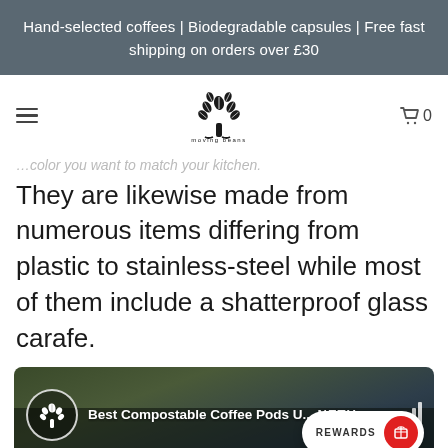Hand-selected coffees | Biodegradable capsules | Free fast shipping on orders over £30
[Figure (logo): Moving Beans tree logo with coffee beans and brand name 'moving beans']
…color you want to match your kitchen.
They are likewise made from numerous items differing from plastic to stainless-steel while most of them include a shatterproof glass carafe.
[Figure (screenshot): Video thumbnail showing 'Best Compostable Coffee Pods U... NETU' with Moving Beans logo circle and audio bars, with a REWARDS button overlay in bottom right]